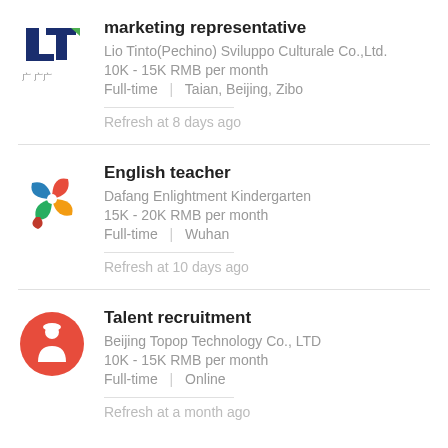marketing representative
Lio Tinto(Pechino) Sviluppo Culturale Co.,Ltd.
10K - 15K RMB per month
Full-time | Taian, Beijing, Zibo
Refresh at 8 days ago
English teacher
Dafang Enlightment Kindergarten
15K - 20K RMB per month
Full-time | Wuhan
Refresh at 10 days ago
Talent recruitment
Beijing Topop Technology Co., LTD
10K - 15K RMB per month
Full-time | Online
Refresh at a month ago